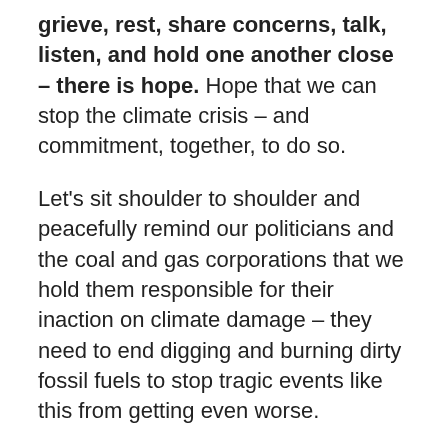grieve, rest, share concerns, talk, listen, and hold one another close – there is hope. Hope that we can stop the climate crisis – and commitment, together, to do so.
Let's sit shoulder to shoulder and peacefully remind our politicians and the coal and gas corporations that we hold them responsible for their inaction on climate damage – they need to end digging and burning dirty fossil fuels to stop tragic events like this from getting even worse.
Bring your favourite comfy cushion, your best signs, your friends, colleagues and family, and together let's show solidarity with everyone impacted by the fires and the climate crisis.